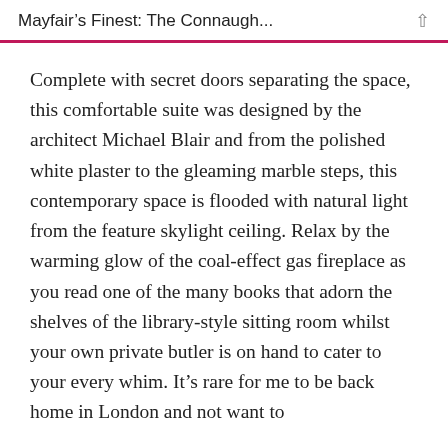Mayfair's Finest: The Connaugh...
Complete with secret doors separating the space, this comfortable suite was designed by the architect Michael Blair and from the polished white plaster to the gleaming marble steps, this contemporary space is flooded with natural light from the feature skylight ceiling. Relax by the warming glow of the coal-effect gas fireplace as you read one of the many books that adorn the shelves of the library-style sitting room whilst your own private butler is on hand to cater to your every whim. It's rare for me to be back home in London and not want to